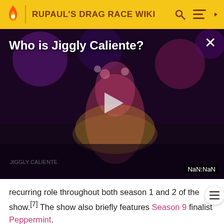RUPAUL'S DRAG RACE WIKI
[Figure (screenshot): Video player showing 'Who is Jiggly Caliente?' with a performer on stage in colorful costume, dark/purple stage background, play button overlay, close (X) button, and NaN:NaN timestamp in bottom right.]
recurring role throughout both season 1 and 2 of the show.[7] The show also briefly features Season 9 finalist Peppermint.
Jiggly is the second contestant to use two different wigs during the promo and the trailer, after Latrice